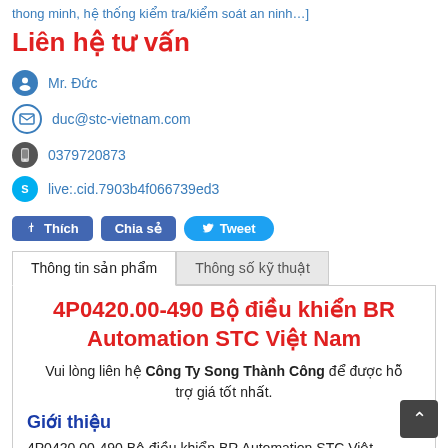thong minh, hệ thống kiểm tra/kiểm soát an ninh…]
Liên hệ tư vấn
Mr. Đức
duc@stc-vietnam.com
0379720873
live:.cid.7903b4f066739ed3
Thich  Chia sẻ  Tweet
Thông tin sản phẩm  |  Thông số kỹ thuật
4P0420.00-490 Bộ điều khiển BR Automation STC Việt Nam
Vui lòng liên hệ Công Ty Song Thành Công để được hỗ trợ giá tốt nhất.
Giới thiệu
4P0420.00-490 Bộ điều khiển BR Automation STC Việt Nam. Hiện đang được Song Thành Công phân phối rộng